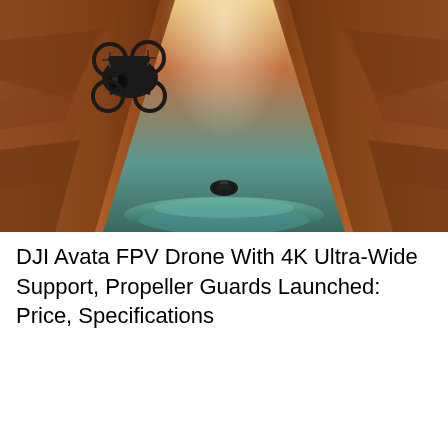[Figure (photo): A DJI Avata FPV drone with propeller guards flying through a narrow slot canyon with reddish-brown sandstone walls and a teal/green stream below, with a small vehicle visible on the water]
DJI Avata FPV Drone With 4K Ultra-Wide Support, Propeller Guards Launched: Price, Specifications